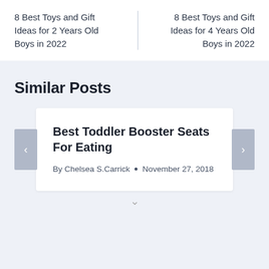8 Best Toys and Gift Ideas for 2 Years Old Boys in 2022
8 Best Toys and Gift Ideas for 4 Years Old Boys in 2022
Similar Posts
Best Toddler Booster Seats For Eating
By Chelsea S.Carrick • November 27, 2018